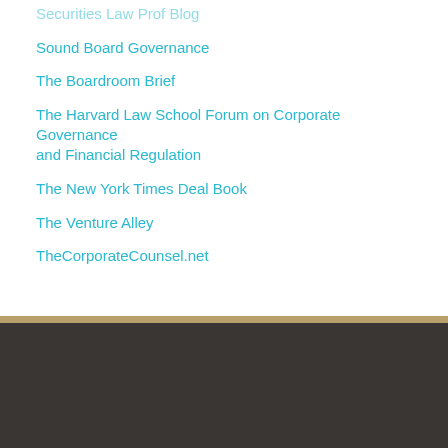Securities Law Prof Blog
Sound Board Governance
The Boardroom Brief
The Harvard Law School Forum on Corporate Governance and Financial Regulation
The New York Times Deal Book
The Venture Alley
TheCorporateCounsel.net
[Figure (logo): Gunster law firm logo with stylized G icon and text GUNSTER FLORIDA'S LAW FIRM FOR BUSINESS on dark background]
[Figure (other): RSS feed icon (orange) and Twitter icon (cyan/blue) in footer]